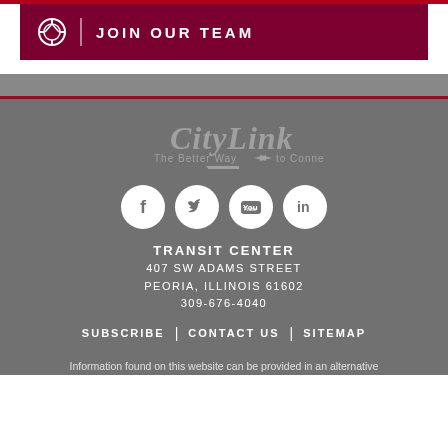JOIN OUR TEAM
[Figure (logo): CityLink logo with tagline 'The Better Way to Connect']
[Figure (illustration): Social media icons: Facebook, Twitter, YouTube, LinkedIn]
TRANSIT CENTER
407 SW ADAMS STREET
PEORIA, ILLINOIS 61602
309-676-4040
SUBSCRIBE | CONTACT US | SITEMAP
Information found on this website can be provided in an alternative